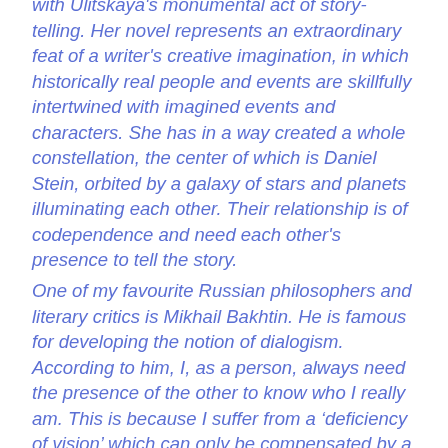with Ulitskaya's monumental act of story-telling. Her novel represents an extraordinary feat of a writer's creative imagination, in which historically real people and events are skillfully intertwined with imagined events and characters. She has in a way created a whole constellation, the center of which is Daniel Stein, orbited by a galaxy of stars and planets illuminating each other. Their relationship is of codependence and need each other's presence to tell the story.
One of my favourite Russian philosophers and literary critics is Mikhail Bakhtin. He is famous for developing the notion of dialogism.  According to him, I, as a person, always need the presence of the other to know who I really am. This is because I suffer from a 'deficiency of vision' which can only be compensated by a friendly or not so friendly 'excess' which the other possesses with